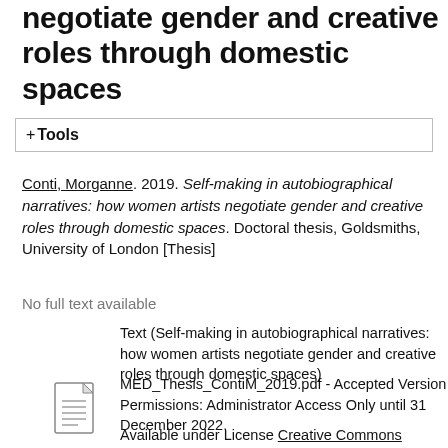negotiate gender and creative roles through domestic spaces
+ Tools
Conti, Morganne. 2019. Self-making in autobiographical narratives: how women artists negotiate gender and creative roles through domestic spaces. Doctoral thesis, Goldsmiths, University of London [Thesis]
No full text available
Text (Self-making in autobiographical narratives: how women artists negotiate gender and creative roles through domestic spaces)
MED_Thesis_ContiM_2019.pdf - Accepted Version
Permissions: Administrator Access Only until 31 December 2022.
Available under License Creative Commons Attribution Non-commercial No Derivatives.
Download (1MB)